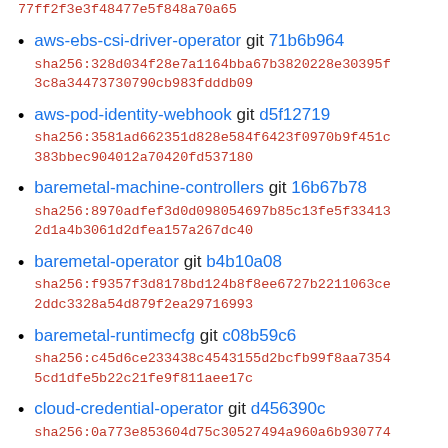...77ff2f3e3f48477e5f848a70a65 (partial sha, continuation)
aws-ebs-csi-driver-operator git 71b6b964 sha256:328d034f28e7a1164bba67b3820228e30395f3c8a34473730790cb983fdddb09
aws-pod-identity-webhook git d5f12719 sha256:3581ad662351d828e584f6423f0970b9f451c383bbec904012a70420fd537180
baremetal-machine-controllers git 16b67b78 sha256:8970adfef3d0d098054697b85c13fe5f334132d1a4b3061d2dfea157a267dc40
baremetal-operator git b4b10a08 sha256:f9357f3d8178bd124b8f8ee6727b2211063ce2ddc3328a54d879f2ea29716993
baremetal-runtimecfg git c08b59c6 sha256:c45d6ce233438c4543155d2bcfb99f8aa73545cd1dfe5b22c21fe9f811aee17c
cloud-credential-operator git d456390c sha256:0a773e853604d75c30527494a960a6b930774... (partial)